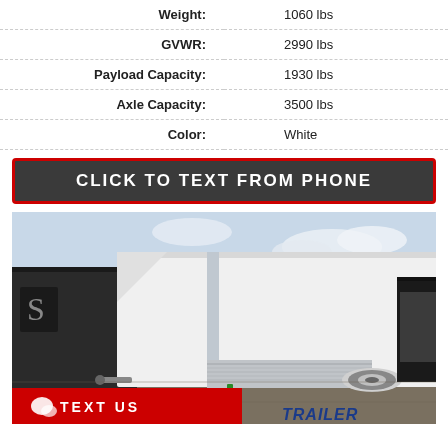| Spec | Value |
| --- | --- |
| Weight: | 1060 lbs |
| GVWR: | 2990 lbs |
| Payload Capacity: | 1930 lbs |
| Axle Capacity: | 3500 lbs |
| Color: | White |
CLICK TO TEXT FROM PHONE
[Figure (photo): White enclosed cargo trailer parked in a lot, showing the side and rear, with diamond plate accents, a chrome corner trim, and a single axle with silver wheel. Other trailers visible in the background.]
TEXT US
TRAILER